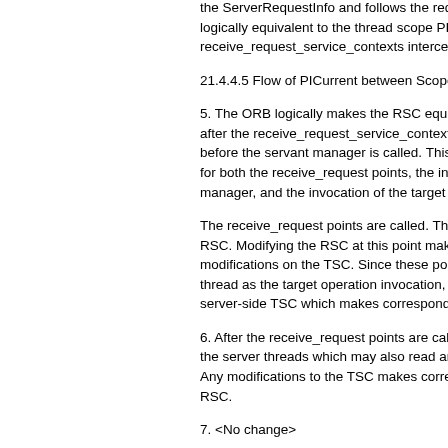the ServerRequestInfo and follows the reque logically equivalent to the thread scope PICu receive_request_service_contexts intercepti
21.4.4.5 Flow of PICurrent between Scopes
5. The ORB logically makes the RSC equiva after the receive_request_service_contexts p before the servant manager is called. This T for both the receive_request points, the invo manager, and the invocation of the target op
The receive_request points are called. Thes RSC. Modifying the RSC at this point makes modifications on the TSC. Since these point: thread as the target operation invocation, the server-side TSC which makes corresponding
6. After the receive_request points are calle the server threads which may also read and Any modifications to the TSC makes corresp RSC.
7. <No change>
8. <DELETE THIS ITEM>